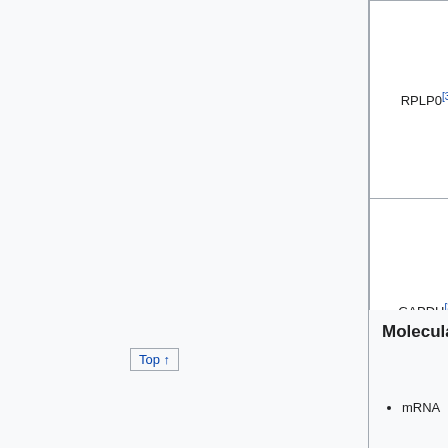| Gene | Full Name | Studies |
| --- | --- | --- |
| RPLP0[3] | Ribosomal protein, large, P0 | delayed implantation
Activation of artificial decidualization
Hormonal treatment |
| GAPDH[3] | Glyceraldehydes-3-phosphate dehydrogenase | Early pregnancy, pseudopregnancy, delayed implantation
Activation of artificial decidualization
Hormonal treatment |
Molecular Types
mRNA